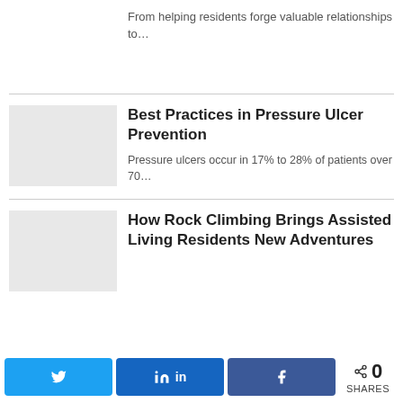From helping residents forge valuable relationships to…
Best Practices in Pressure Ulcer Prevention
Pressure ulcers occur in 17% to 28% of patients over 70…
How Rock Climbing Brings Assisted Living Residents New Adventures
0 SHARES